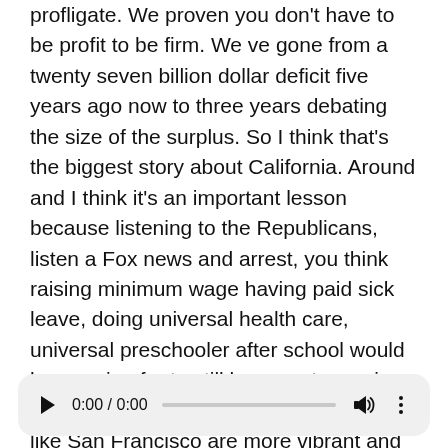profligate. We proven you don't have to be profit to be firm. We ve gone from a twenty seven billion dollar deficit five years ago now to three years debating the size of the surplus. So I think that's the biggest story about California. Around and I think it's an important lesson because listening to the Republicans, listen a Fox news and arrest, you think raising minimum wage having paid sick leave, doing universal health care, universal preschooler after school would be a recipe for to still be an outcome in the reality is exactly the opposite. Cities like San Francisco are more vibrant and they ve ever been with these progressive values. This state is more vibrant than its being in a decade plus with these values, and I think we're proving in asserting ourselves.
[Figure (other): Audio player widget showing 0:00 / 0:00 with play button, progress bar, volume icon, and more options icon]